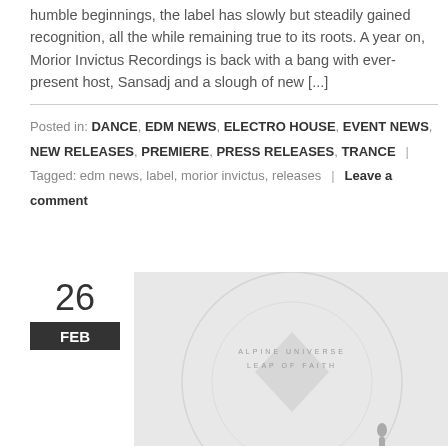humble beginnings, the label has slowly but steadily gained recognition, all the while remaining true to its roots. A year on, Morior Invictus Recordings is back with a bang with ever-present host, Sansadj and a slough of new [...]
Posted in: DANCE, EDM NEWS, ELECTRO HOUSE, EVENT NEWS, NEW RELEASES, PREMIERE, PRESS RELEASES, TRANCE | Tagged: edm news, label, morior invictus, releases | Leave a comment
26 FEB
[Figure (illustration): Album artwork for 'Leap of Faith' by Alpine Universe — light grey background with a faint circular arc and a small silhouette figure, with text 'ALPINE UNIVERSE / LEAP OF FAITH']